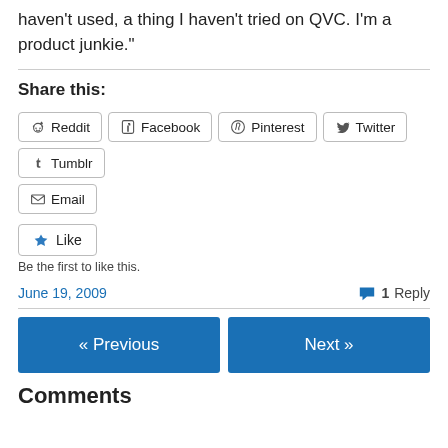haven't used, a thing I haven't tried on QVC. I'm a product junkie."
Share this:
Reddit | Facebook | Pinterest | Twitter | Tumblr | Email
Like
Be the first to like this.
June 19, 2009
1 Reply
« Previous   Next »